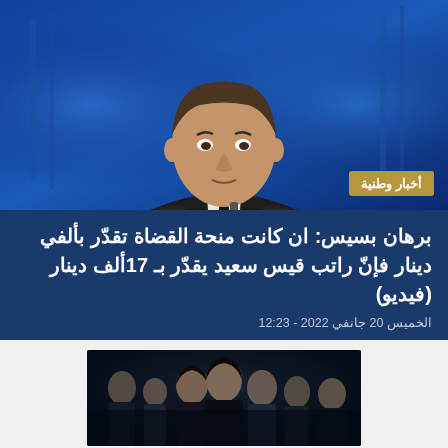[Figure (photo): A man in a dark suit and tie sitting in what appears to be a TV studio with blue lighting in the background]
أخبار وطنية
برهان بسيس: ان كانت منحة القضاة تقدّر بألفي دينار فإنّ راتب قيس سعيد يقدّر بـ 17ألف دينار (فيديو)
الخميس 20 جانفي 2022 - 12:23
[Figure (photo): A dark movie or TV show poster featuring multiple people including men and women with dramatic lighting]